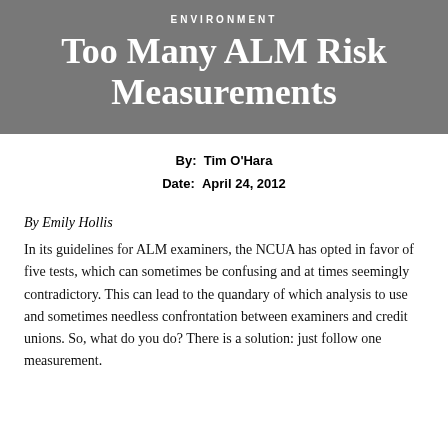ENVIRONMENT
Too Many ALM Risk Measurements
By: Tim O'Hara
Date: April 24, 2012
By Emily Hollis
In its guidelines for ALM examiners, the NCUA has opted in favor of five tests, which can sometimes be confusing and at times seemingly contradictory. This can lead to the quandary of which analysis to use and sometimes needless confrontation between examiners and credit unions. So, what do you do? There is a solution: just follow one measurement.